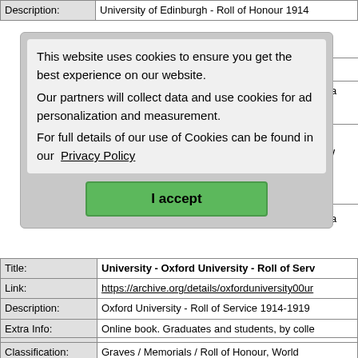| Field | Value |
| --- | --- |
| Description: | University of Edinburgh - Roll of Honour 1914 |
[Figure (screenshot): Cookie consent popup overlay with text: 'This website uses cookies to ensure you get the best experience on our website. Our partners will collect data and use cookies for ad personalization and measurement. For full details of our use of Cookies can be found in our Privacy Policy' and a green 'I accept' button]
| Field | Value |
| --- | --- |
| Title: | University - Oxford University - Roll of Serv... |
| Link: | https://archive.org/details/oxforduniversity00ur... |
| Description: | Oxford University - Roll of Service 1914-1919 |
| Extra Info: | Online book. Graduates and students, by colle... List of all those in service and those who gave their lives. Mini biographies. |
| Field | Value |
| --- | --- |
| Classification: | Graves / Memorials / Roll of Honour, World War I, World War II |
| Title: | University of Glasgow Story |
| Link: | https://universitystory.gla.ac.uk/ |